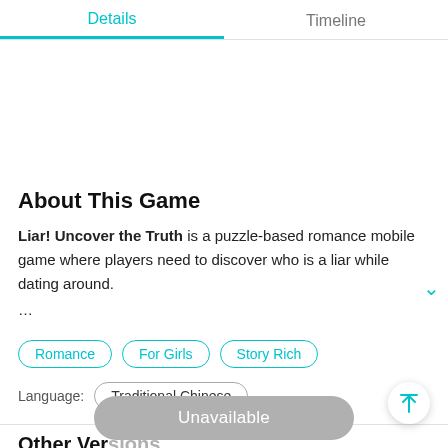Details | Timeline
About This Game
Liar! Uncover the Truth is a puzzle-based romance mobile game where players need to discover who is a liar while dating around. …
Romance
For Girls
Story Rich
Language: Traditional Chinese
Other Ver
Unavailable